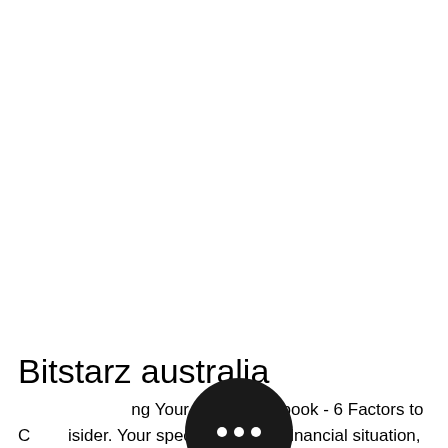Bitstarz australia
Choosing Your BTC Sportsbook - 6 Factors to Consider. Your specific location, financial situation, and other reasons may mean that